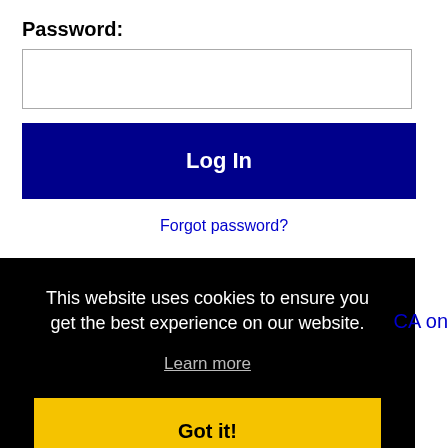Password:
[Figure (screenshot): Password input text field (empty, white background with border)]
Log In
Forgot password?
[Figure (logo): Facebook logo icon (blue square with white f) and LinkedIn logo (Linked text with blue 'in' box and registered trademark symbol)]
This website uses cookies to ensure you get the best experience on our website.
Learn more
Got it!
CA on